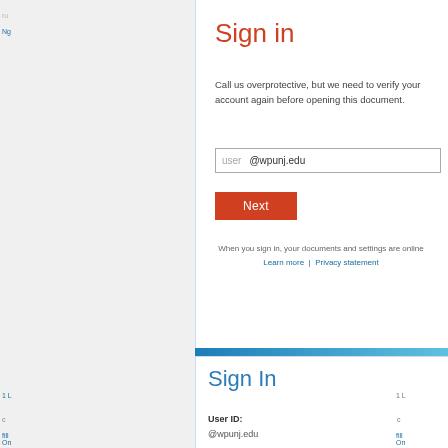[Figure (screenshot): Microsoft Office Sign In dialog screenshot showing 'Sign in' title in red/orange, a text field with 'user @wpunj.edu', a red Next button, footer links for Learn more and Privacy statement, and below a second Sign In dialog in blue with User ID field showing @wpunj.edu]
Sign in
Call us overprotective, but we need to verify your account again before opening this document.
user    @wpunj.edu
Next
When you sign in, your documents and settings are online
Learn more  |  Privacy statement
Sign In
User ID:
@wpunj.edu